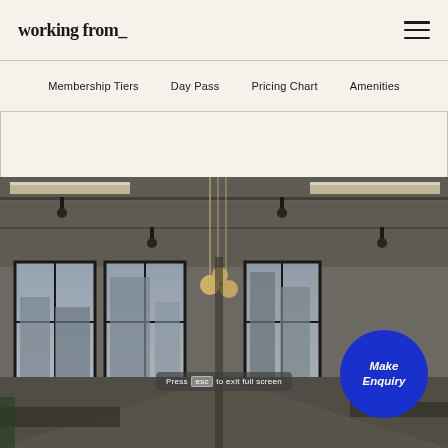working from_
Membership Tiers   Day Pass   Pricing Chart   Amenities
[Figure (photo): Interior photo of a modern coworking space with exposed concrete ceiling, industrial pendant lights, large windows overlooking a city, and a circular blue 'Make Enquiry' button overlaid in the bottom right corner. A tooltip reading 'Press esc to exit full screen' appears near the top center of the image.]